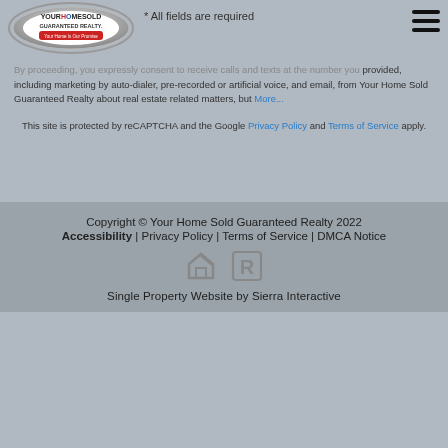[Figure (logo): Your Home Sold Guaranteed Realty logo — circular chrome ring with company name and tagline]
* All fields are required
By proceeding, you expressly consent to receive calls and texts at the number you provided, including marketing by auto-dialer, pre-recorded or artificial voice, and email, from Your Home Sold Guaranteed Realty about real estate related matters, but More...
This site is protected by reCAPTCHA and the Google Privacy Policy and Terms of Service apply.
Copyright © Your Home Sold Guaranteed Realty 2022 | Accessibility | Privacy Policy | Terms of Service | DMCA Notice
Single Property Website by Sierra Interactive